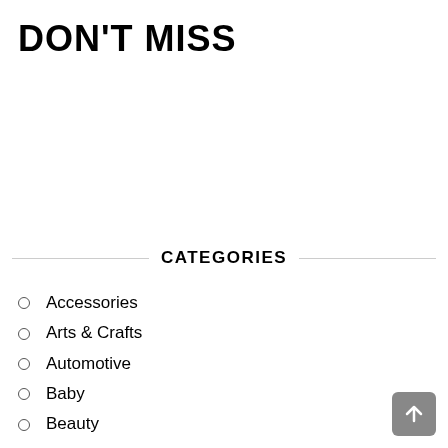DON'T MISS
CATEGORIES
Accessories
Arts & Crafts
Automotive
Baby
Beauty
Books and Magazines
Cards
Clothing